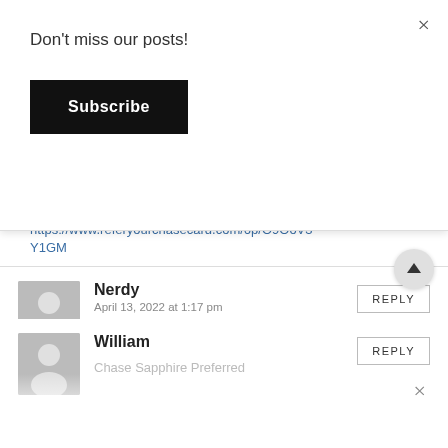Don't miss our posts!
Subscribe
https://www.referyourchasecard.com/6p/O9OoV3Y1GM
Nerdy
April 13, 2022 at 1:17 pm
CSP for 80,000!!!! If you missed out on the 100k, this is the next best deal!
https://www.referyourchasecard.com/6p/8E1L6WEO0S
William
Chase Sapphire Preferred